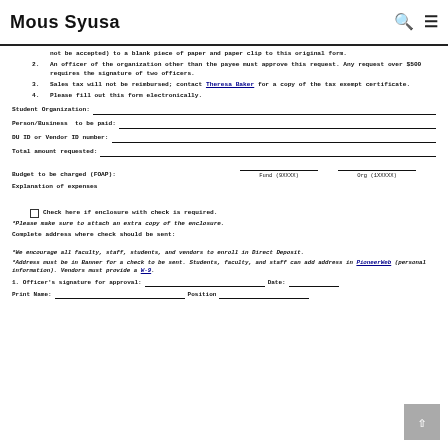Mous Syusa
not be accepted) to a blank piece of paper and paper clip to this original form.
2. An officer of the organization other than the payee must approve this request. Any request over $500 requires the signature of two officers.
3. Sales tax will not be reimbursed; contact Theresa Baker for a copy of the tax exempt certificate.
4. Please fill out this form electronically.
Student Organization: ____
Person/Business to be paid: ____
DU ID or Vendor ID number: ____
Total amount requested: ____
Budget to be charged (FOAP): Fund (9XXXX) Org (1XXXXX)
Explanation of expenses
Check here if enclosure with check is required.
*Please make sure to attach an extra copy of the enclosure.
Complete address where check should be sent:
*We encourage all faculty, staff, students, and vendors to enroll in Direct Deposit.
*Address must be in Banner for a check to be sent. Students, faculty, and staff can add address in PioneerWeb (personal information). Vendors must provide a W-9.
1. Officer's signature for approval: ____ Date: ____
Print Name: ____ Position ____